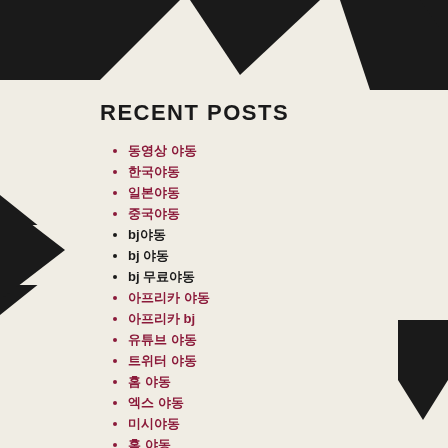[Figure (illustration): Decorative black geometric arrow/chevron shapes in corners and sides of the page]
RECENT POSTS
동영상 야동
한국야동
일본야동
중국야동
bj야동
bj 야동
bj 무료야동
아프리카 야동
아프리카 bj
유튜브 야동
트위터 야동
홈 야동
엑스 야동
미시야동
홈 야동
야동 사이트모음